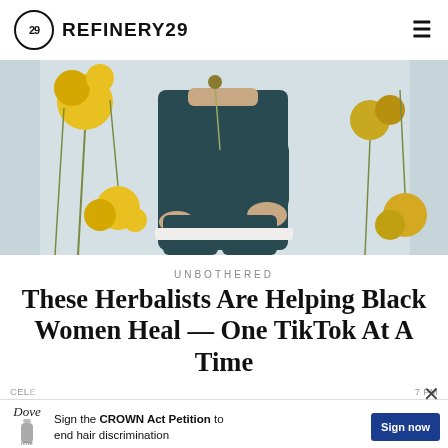REFINERY29
[Figure (photo): Woman in dark teal/navy jumpsuit seated among tall yellow wildflowers on a light blue-grey background. Her face is cropped out. She holds one flower stem and rests a hand on her knee.]
UNBOTHERED
These Herbalists Are Helping Black Women Heal — One TikTok At A Time
CELE  7 PM
[Figure (other): Dove advertisement banner: Dove logo with bottle image, text 'Sign the CROWN Act Petition to end hair discrimination', and a dark blue 'Sign now' button. Close (×) button in top right.]